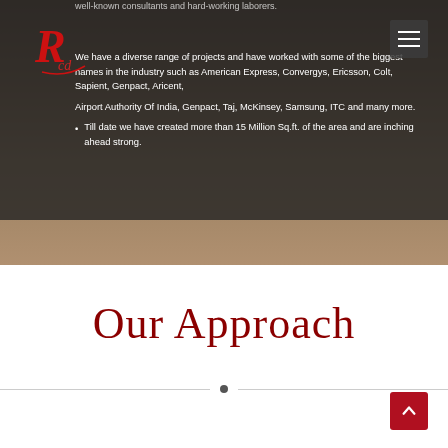[Figure (logo): Red stylized R logo with the word 'Rcd' in script lettering]
well-known consultants and hard-working laborers.
We have a diverse range of projects and have worked with some of the biggest names in the industry such as American Express, Convergys, Ericsson, Colt, Sapient, Genpact, Aricent, Airport Authority Of India, Genpact, Taj, McKinsey, Samsung, ITC and many more.
Till date we have created more than 15 Million Sq.ft. of the area and are inching ahead strong.
Our Approach